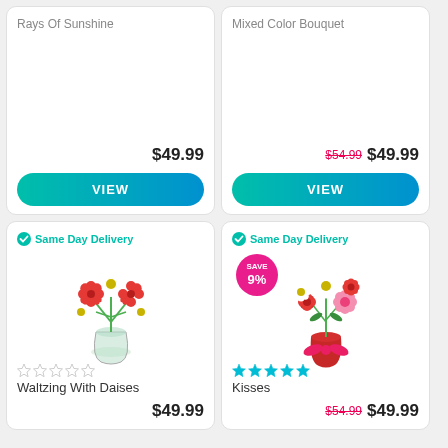Rays Of Sunshine
$49.99
VIEW
Mixed Color Bouquet
$54.99 $49.99
VIEW
Same Day Delivery
[Figure (photo): Mixed red and white flower bouquet in a glass vase]
Waltzing With Daises
$49.99
Same Day Delivery
[Figure (photo): Red and white flower bouquet in a red vase with ribbon, SAVE 9% badge]
Kisses
$54.99 $49.99